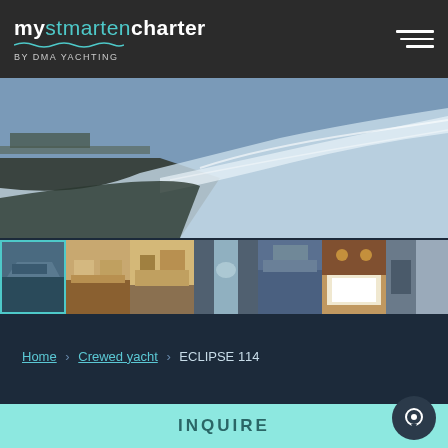mystmartencharter by DMA YACHTING
[Figure (photo): Aerial view of a large yacht cutting through ocean water with white wake]
[Figure (photo): Gallery of 7 yacht interior and exterior thumbnail images]
Home › Crewed yacht › ECLIPSE 114
ECLIPSE 114 YACHT
INQUIRE